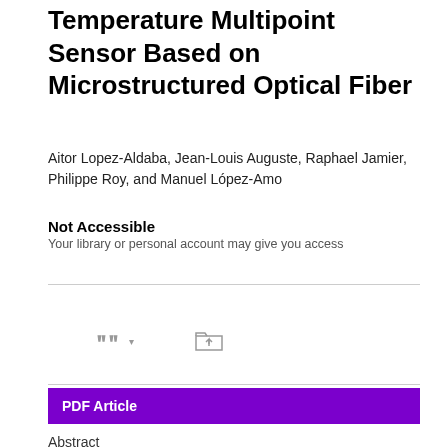Temperature Multipoint Sensor Based on Microstructured Optical Fiber
Aitor Lopez-Aldaba, Jean-Louis Auguste, Raphael Jamier, Philippe Roy, and Manuel López-Amo
Not Accessible
Your library or personal account may give you access
[Figure (other): Action icons row: PDF download, email, share icons in first row; cite (with dropdown chevron) and upload/folder icon in second row]
PDF Article
Abstract